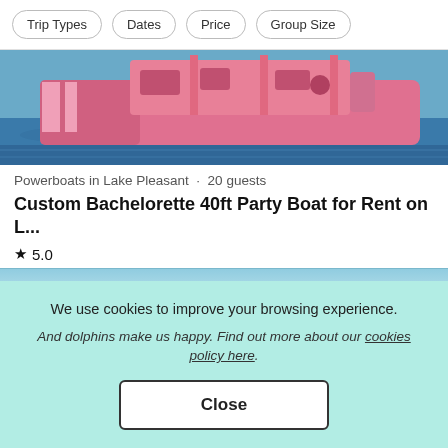Trip Types  Dates  Price  Group Size
[Figure (photo): Pink bachelorette party boat on water, viewed from above/side]
Powerboats in Lake Pleasant · 20 guests
Custom Bachelorette 40ft Party Boat for Rent on L...
★ 5.0
$1,275 day
We use cookies to improve your browsing experience. And dolphins make us happy. Find out more about our cookies policy here.
Close